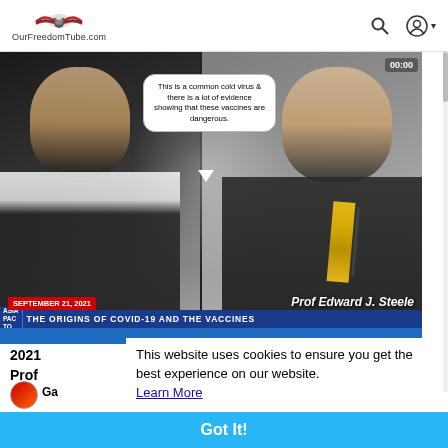OurFreedomTube.com
[Figure (screenshot): Video thumbnail showing two men in a split-screen interview format. Left man speaking, right man is Prof Edward J. Steele. Speech bubble reads: 'This is a common cold virus & there is a lot of evidence showing that these vaccines are dangerous.' Date badge: SEPTEMBER 21, 2021. News ticker at bottom reads: THE ORIGINS OF COVID-19 AND THE VACCINES. Counter badge shows 00:00.]
2021
Prof
This website uses cookies to ensure you get the best experience on our website.
Learn More
[Figure (screenshot): Small Sky News Live thumbnail at bottom left]
Got It!